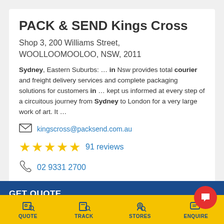PACK & SEND Kings Cross
Shop 3, 200 Williams Street, WOOLLOOMOOLOO, NSW, 2011
Sydney, Eastern Suburbs: … in Nsw provides total courier and freight delivery services and complete packaging solutions for customers in … kept us informed at every step of a circuitous journey from Sydney to London for a very large work of art. It …
kingscross@packsend.com.au
91 reviews
02 9331 2700
GET QUOTE
VIEW DETAILS →
QUOTE  TRACK  STORES  ENQUIRE